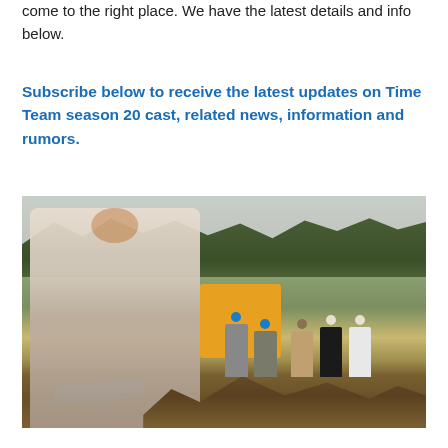come to the right place. We have the latest details and info below.
Subscribe below to receive the latest updates on Time Team season 20 cast, related news, information and rumors.
[Figure (photo): A man in a patterned white shirt stands in the foreground of an outdoor archaeological dig site, smiling. Behind him is a yellow excavator and several workers wearing hard hats. Trees line the background under an overcast sky. A blue tarp and dirt mounds are visible.]